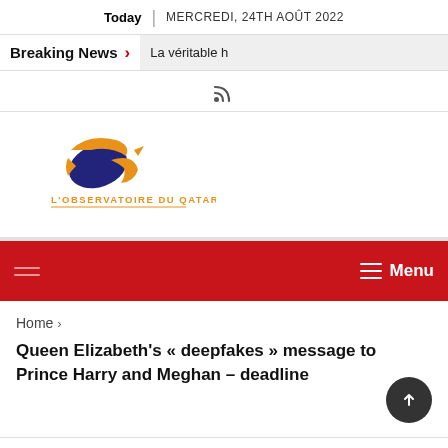Today | MERCREDI, 24TH AOÛT 2022
Breaking News > La véritable h
[Figure (logo): RSS feed icon]
[Figure (logo): L'Observatoire du Qatar logo - globe graphic with orange swoosh and dark blue oval, with text L'OBSERVATOIRE DU QATAR in orange below]
Menu
Home >
Queen Elizabeth's « deepfakes » message to Prince Harry and Meghan – deadline